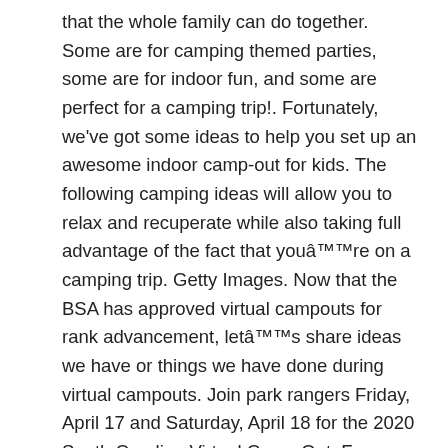that the whole family can do together. Some are for camping themed parties, some are for indoor fun, and some are perfect for a camping trip!. Fortunately, we've got some ideas to help you set up an awesome indoor camp-out for kids. The following camping ideas will allow you to relax and recuperate while also taking full advantage of the fact that youâre on a camping trip. Getty Images. Now that the BSA has approved virtual campouts for rank advancement, letâs share ideas we have or things we have done during virtual campouts. Join park rangers Friday, April 17 and Saturday, April 18 for the 2020 South Carolina Virtual Camp Out. From virtual STEM camps, DIY craft camps, to computer coding camps, find it here. You can go two ways here: Grab your best camping â¦ What makes it more fun is that there are things you can do to bring a bit of convenience in your camping zone. With over 135 videos online, the site â¦ And it can all happen from the comfort of a computer.